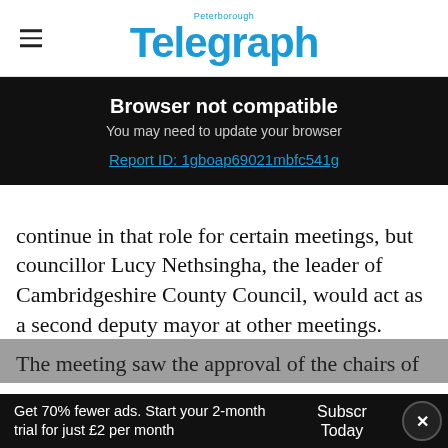Peterborough Telegraph
Browser not compatible
You may need to update your browser
Report ID: 1gboap69021mbfc541g
continue in that role for certain meetings, but councillor Lucy Nethsingha, the leader of Cambridgeshire County Council, would act as a second deputy mayor at other meetings.
The meeting saw the approval of the chairs of
Get 70% fewer ads. Start your 2-month trial for just £2 per month   Subscribe Today